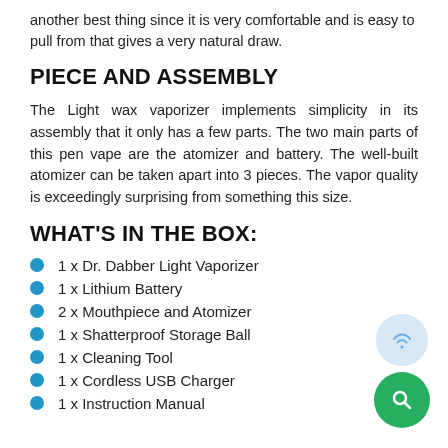another best thing since it is very comfortable and is easy to pull from that gives a very natural draw.
PIECE AND ASSEMBLY
The Light wax vaporizer implements simplicity in its assembly that it only has a few parts. The two main parts of this pen vape are the atomizer and battery. The well-built atomizer can be taken apart into 3 pieces. The vapor quality is exceedingly surprising from something this size.
WHAT'S IN THE BOX:
1 x Dr. Dabber Light Vaporizer
1 x Lithium Battery
2 x Mouthpiece and Atomizer
1 x Shatterproof Storage Ball
1 x Cleaning Tool
1 x Cordless USB Charger
1 x Instruction Manual